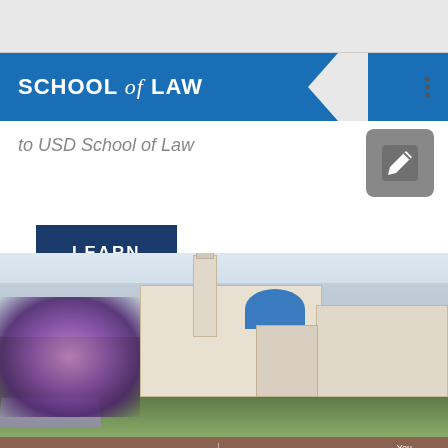SCHOOL of LAW
to USD School of Law
LEARN MORE
[Figure (photo): Aerial view of USD (University of San Diego) campus showing white Spanish Renaissance architecture with blue dome, bell tower, jacaranda trees with purple flowers, and cityscape in background]
School of Law | Facebook LinkedIn YouTube Twitter